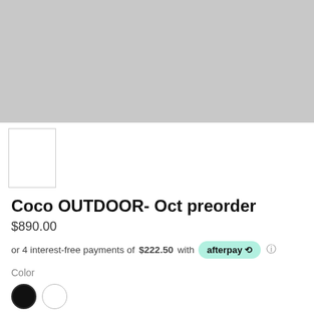[Figure (photo): Large gray placeholder product image area]
[Figure (photo): Small white thumbnail image with gray border]
Coco OUTDOOR- Oct preorder
$890.00
or 4 interest-free payments of $222.50 with afterpay
Color
[Figure (illustration): Two color swatches: black filled circle and white circle with gray border]